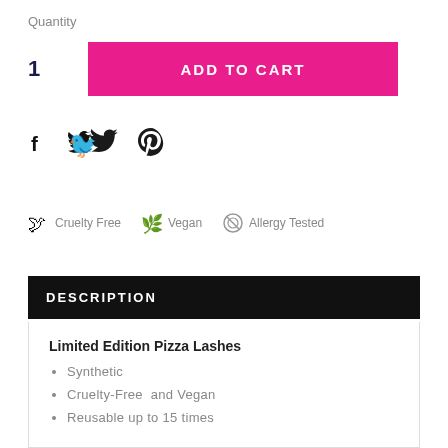Quantity
1
ADD TO CART
[Figure (illustration): Social media sharing icons: Facebook (f), Twitter (bird), Pinterest (p)]
Cruelty Free   Vegan   Allergy Tested
DESCRIPTION
Limited Edition Pizza Lashes
Synthetic
Cruelty-Free  and Vegan
Reusable up to 15 times